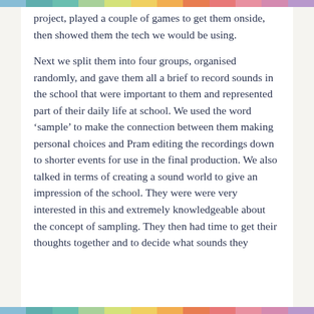project, played a couple of games to get them onside, then showed them the tech we would be using.
Next we split them into four groups, organised randomly, and gave them all a brief to record sounds in the school that were important to them and represented part of their daily life at school. We used the word ‘sample’ to make the connection between them making personal choices and Pram editing the recordings down to shorter events for use in the final production. We also talked in terms of creating a sound world to give an impression of the school. They were were very interested in this and extremely knowledgeable about the concept of sampling. They then had time to get their thoughts together and to decide what sounds they